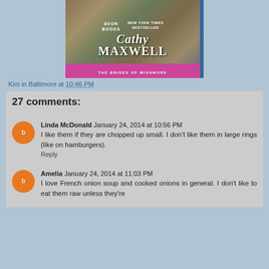[Figure (photo): Book cover for Cathy Maxwell 'The Brides of Wishmore', Avon Books, New York Times Bestseller]
Kim in Baltimore at 10:46 PM
27 comments:
Linda McDonald  January 24, 2014 at 10:56 PM
I like them if they are chopped up small. I don't like them in large rings (like on hamburgers).
Reply
Amelia  January 24, 2014 at 11:03 PM
I love French onion soup and cooked onions in general. I don't like to eat them raw unless they're